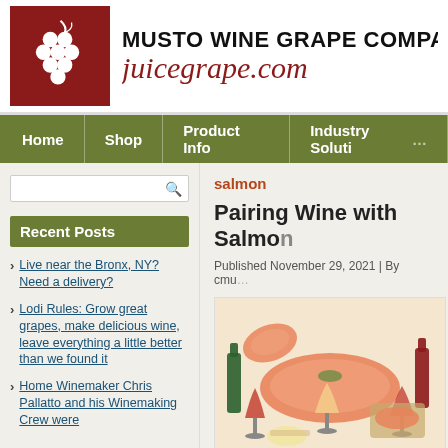[Figure (logo): Musto Wine Grape Company LLC logo with grape cluster on red background and juicegrape.com website name]
Home | Shop | Product Info | Industry Solutions
salmon
Pairing Wine with Salmon
Published November 29, 2021 | By cmu
[Figure (illustration): Illustration of salmon dishes with wine glasses and bottles]
Recent Posts
Live near the Bronx, NY? Need a delivery?
Lodi Rules: Grow great grapes, make delicious wine, leave everything a little better than we found it
Home Winemaker Chris Pallatto and his Winemaking Crew were